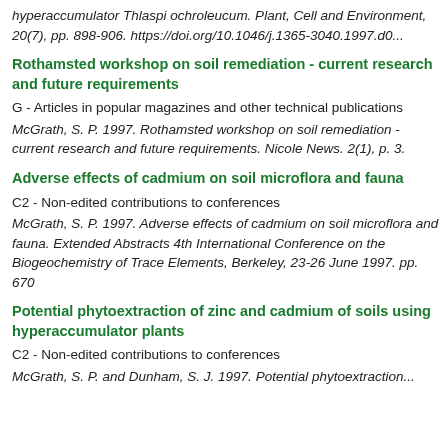hyperaccumulator Thlaspi ochroleucum. Plant, Cell and Environment, 20(7), pp. 898-906. https://doi.org/10.1046/j.1365-3040.1997.d0...
Rothamsted workshop on soil remediation - current research and future requirements
G - Articles in popular magazines and other technical publications
McGrath, S. P. 1997. Rothamsted workshop on soil remediation - current research and future requirements. Nicole News. 2(1), p. 3.
Adverse effects of cadmium on soil microflora and fauna
C2 - Non-edited contributions to conferences
McGrath, S. P. 1997. Adverse effects of cadmium on soil microflora and fauna. Extended Abstracts 4th International Conference on the Biogeochemistry of Trace Elements, Berkeley, 23-26 June 1997. pp. 670
Potential phytoextraction of zinc and cadmium of soils using hyperaccumulator plants
C2 - Non-edited contributions to conferences
McGrath, S. P. and Dunham, S. J. 1997. Potential phytoextraction...